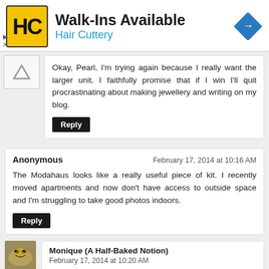[Figure (infographic): Hair Cuttery advertisement banner with yellow HC logo, 'Walk-Ins Available' headline, 'Hair Cuttery' subline in blue, and a blue diamond-shaped navigation icon on the right. Small play and X controls on lower left.]
Okay, Pearl, I'm trying again because I really want the larger unit. I faithfully promise that if I win I'll quit procrastinating about making jewellery and writing on my blog.
Reply
Anonymous	February 17, 2014 at 10:16 AM
The Modahaus looks like a really useful piece of kit. I recently moved apartments and now don't have access to outside space and I'm struggling to take good photos indoors.
Reply
Monique (A Half-Baked Notion)	February 17, 2014 at 10:20 AM
Wow, Pearl, I would love to win a Modahaus TS320 (actually